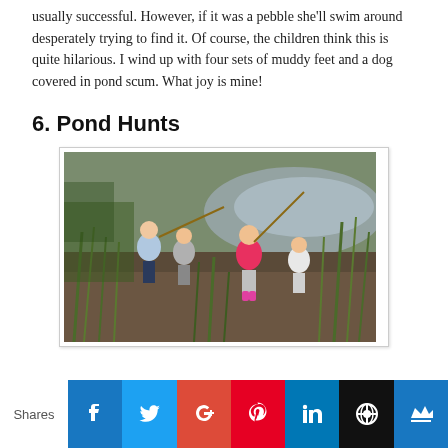usually successful. However, if it was a pebble she'll swim around desperately trying to find it.  Of course, the children think this is quite hilarious.  I wind up with four sets of muddy feet and a dog covered in pond scum.  What joy is mine!
6. Pond Hunts
[Figure (photo): Children playing near a pond with tall grass and water in the background. Several children are visible, one in a pink top and pink boots, others in casual clothing. They appear to be exploring the pond edge with sticks.]
Shares | Facebook | Twitter | Google+ | Pinterest | LinkedIn | WordPress | Crown